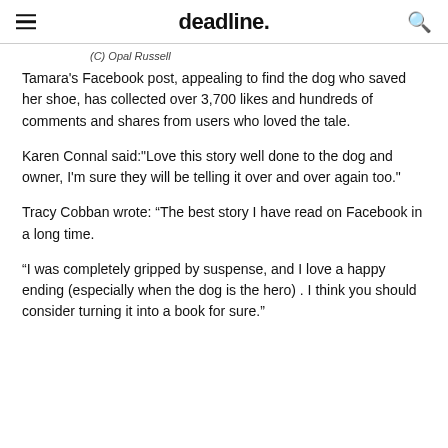deadline.
(C) Opal Russell
Tamara's Facebook post, appealing to find the dog who saved her shoe, has collected over 3,700 likes and hundreds of comments and shares from users who loved the tale.
Karen Connal said:"Love this story well done to the dog and owner, I'm sure they will be telling it over and over again too."
Tracy Cobban wrote: “The best story I have read on Facebook in a long time.
“I was completely gripped by suspense, and I love a happy ending (especially when the dog is the hero) . I think you should consider turning it into a book for sure.”